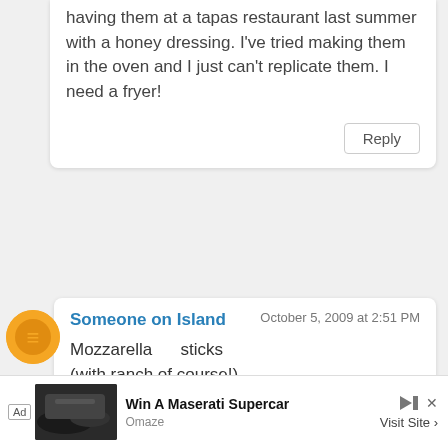having them at a tapas restaurant last summer with a honey dressing. I've tried making them in the oven and I just can't replicate them. I need a fryer!
Reply
Someone on Island
October 5, 2009 at 2:51 PM
Mozzarella sticks
(with ranch of course!)
Reply
Unknown
October 5, 2009 at 2:51 PM
looks like your demo
[Figure (screenshot): Ad banner: Win A Maserati Supercar - Omaze, Visit Site]
[Figure (illustration): Dark circle hamburger menu button overlay]